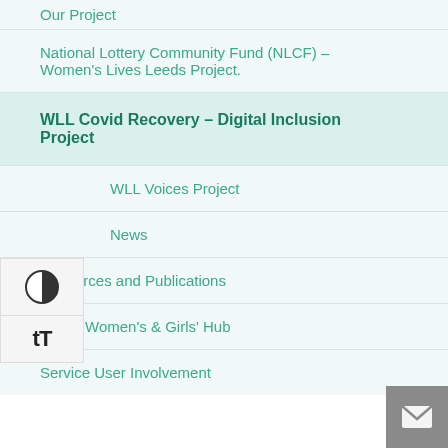Our Project
National Lottery Community Fund (NLCF) – Women's Lives Leeds Project.
WLL Covid Recovery – Digital Inclusion Project
WLL Voices Project
News
Resources and Publications
Leeds Women's & Girls' Hub
Service User Involvement